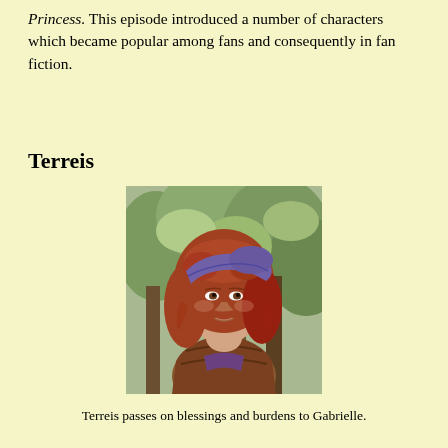Princess. This episode introduced a number of characters which became popular among fans and consequently in fan fiction.
Terreis
[Figure (photo): Photo of Terreis, a young woman with long curly red hair wearing a purple headpiece and brown leather armor, standing outdoors among trees.]
Terreis passes on blessings and burdens to Gabrielle.